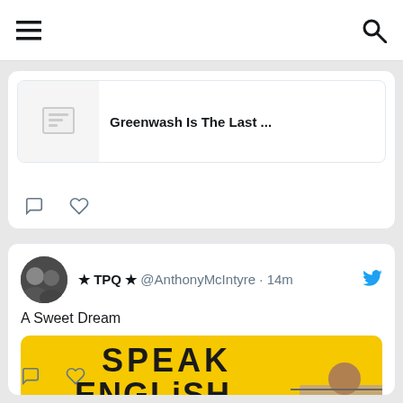Navigation bar with menu and search icons
[Figure (screenshot): Partial tweet card showing a shared link with text 'Greenwash Is The Last ...' and a thumbnail image, with comment and heart action icons below]
[Figure (screenshot): Tweet by ★ TPQ ★ @AnthonyMcIntyre · 14m with text 'A Sweet Dream' and an image of a yellow sign reading 'SPEAK ENGLISH' with a person visible below holding it through a car window]
★ TPQ ★ @AnthonyMcIntyre · 14m
A Sweet Dream